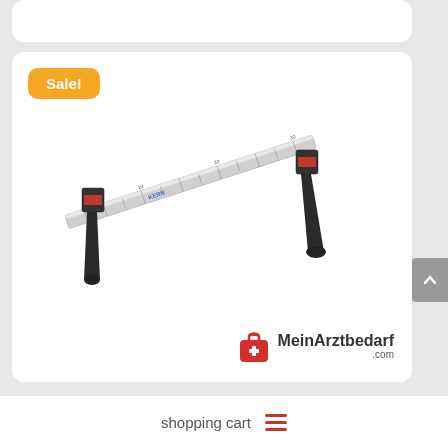[Figure (photo): Medical measuring device (pelvimeter/caliper) with a ruler bar and two black pointer arms with red accents, shown on white background. MeinArztbedarf.com logo in bottom right.]
Sale!
MeinArztbedarf .com
shopping cart